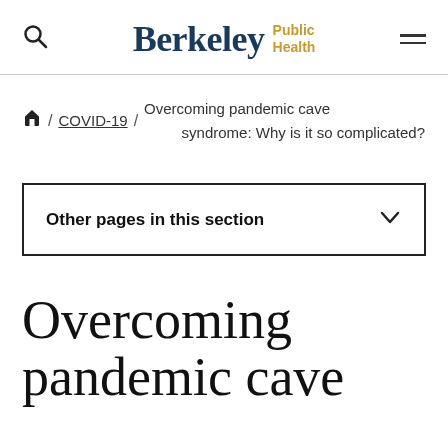Berkeley Public Health
/ COVID-19 / Overcoming pandemic cave syndrome: Why is it so complicated?
Other pages in this section
Overcoming pandemic cave